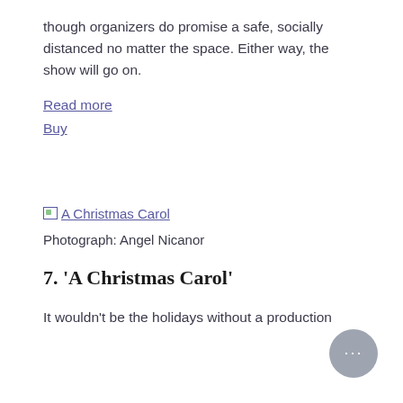though organizers do promise a safe, socially distanced no matter the space. Either way, the show will go on.
Read more
Buy
[Figure (photo): Broken image placeholder link labeled 'A Christmas Carol']
Photograph: Angel Nicanor
7. 'A Christmas Carol'
It wouldn't be the holidays without a production